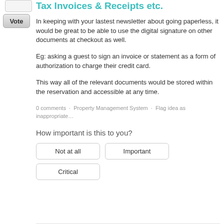[Figure (other): Vote button widget with input box and Vote button in left sidebar]
Tax Invoices & Receipts etc.
In keeping with your lastest newsletter about going paperless, it would be great to be able to use the digital signature on other documents at checkout as well.
Eg: asking a guest to sign an invoice or statement as a form of authorization to charge their credit card.
This way all of the relevant documents would be stored within the reservation and accessible at any time.
0 comments · Property Management System · Flag idea as inappropriate…
How important is this to you?
[Figure (other): Three importance buttons: Not at all, Important, Critical]